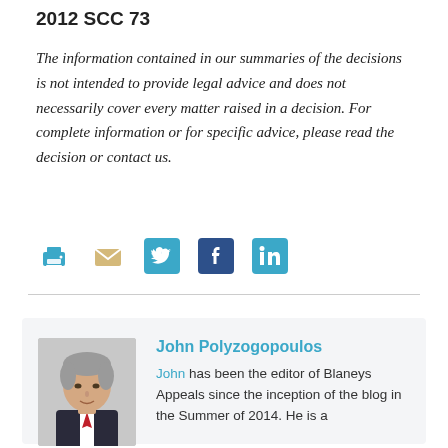2012 SCC 73
The information contained in our summaries of the decisions is not intended to provide legal advice and does not necessarily cover every matter raised in a decision. For complete information or for specific advice, please read the decision or contact us.
[Figure (infographic): Social sharing icons: print (teal printer icon), email (tan envelope icon), Twitter (teal bird icon), Facebook (dark blue 'f' icon), LinkedIn (teal 'in' icon)]
[Figure (photo): Headshot photo of John Polyzogopoulos, a middle-aged man with grey hair wearing a dark suit and red tie]
John Polyzogopoulos
John has been the editor of Blaneys Appeals since the inception of the blog in the Summer of 2014. He is a